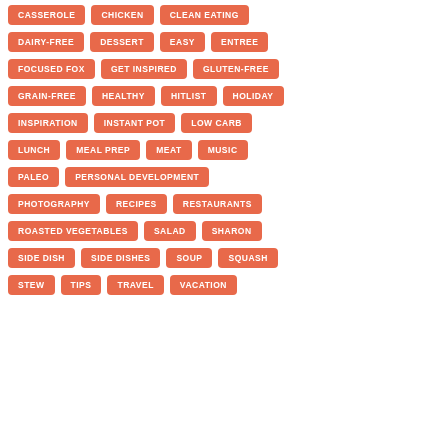CASSEROLE
CHICKEN
CLEAN EATING
DAIRY-FREE
DESSERT
EASY
ENTREE
FOCUSED FOX
GET INSPIRED
GLUTEN-FREE
GRAIN-FREE
HEALTHY
HITLIST
HOLIDAY
INSPIRATION
INSTANT POT
LOW CARB
LUNCH
MEAL PREP
MEAT
MUSIC
PALEO
PERSONAL DEVELOPMENT
PHOTOGRAPHY
RECIPES
RESTAURANTS
ROASTED VEGETABLES
SALAD
SHARON
SIDE DISH
SIDE DISHES
SOUP
SQUASH
STEW
TIPS
TRAVEL
VACATION